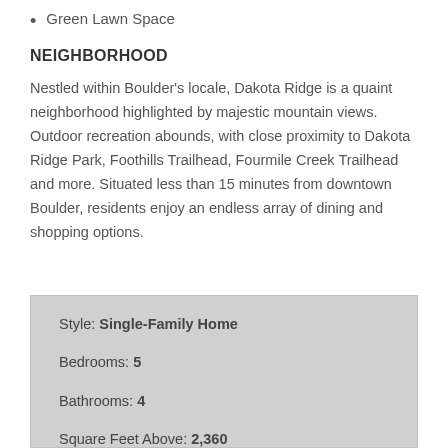Green Lawn Space
NEIGHBORHOOD
Nestled within Boulder's locale, Dakota Ridge is a quaint neighborhood highlighted by majestic mountain views. Outdoor recreation abounds, with close proximity to Dakota Ridge Park, Foothills Trailhead, Fourmile Creek Trailhead and more. Situated less than 15 minutes from downtown Boulder, residents enjoy an endless array of dining and shopping options.
Style: Single-Family Home
Bedrooms: 5
Bathrooms: 4
Square Feet Above: 2,360
Basement: 935